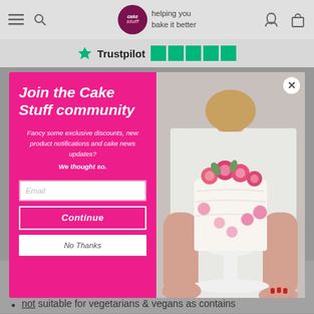[Figure (screenshot): Cake Stuff website header with hamburger menu, search icon, logo (cake stuff - helping you bake it better), user and cart icons]
[Figure (screenshot): Trustpilot rating bar with green star logo, Trustpilot text, and green rating boxes]
[Figure (screenshot): Modal popup overlay: left pink panel with 'Join the Cake Stuff community' heading, description text, email input, Continue button, No Thanks button; right panel shows photo of a white cake decorated with pink flowers and tulips on a white cake stand, held by a person]
Shellac
allergy advice: contains wheat
not suitable for vegetarians & vegans as contains